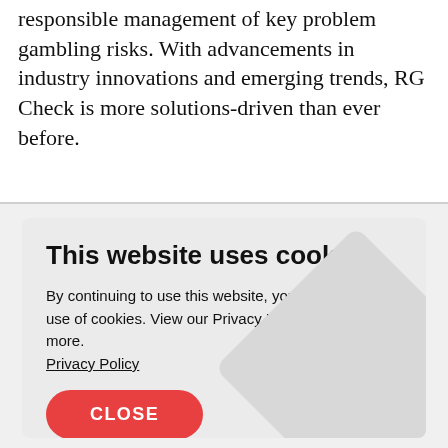responsible management of key problem gambling risks. With advancements in industry innovations and emerging trends, RG Check is more solutions-driven than ever before.
This website uses cookies.
By continuing to use this website, you consent to our use of cookies. View our Privacy Policy to learn more.
Privacy Policy
CLOSE